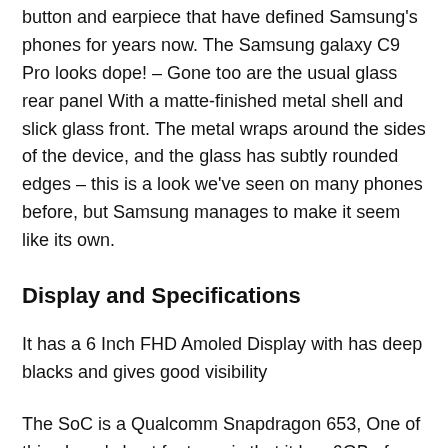button and earpiece that have defined Samsung's phones for years now. The Samsung galaxy C9 Pro looks dope! – Gone too are the usual glass rear panel With a matte-finished metal shell and slick glass front. The metal wraps around the sides of the device, and the glass has subtly rounded edges – this is a look we've seen on many phones before, but Samsung manages to make it seem like its own.
Display and Specifications
It has a 6 Inch FHD Amoled Display with has deep blacks and gives good visibility
The SoC is a Qualcomm Snapdragon 653, One of this phone's best features is that it has 6GB of RAM, which might be overkill but definitely looks good to prospective buyers.